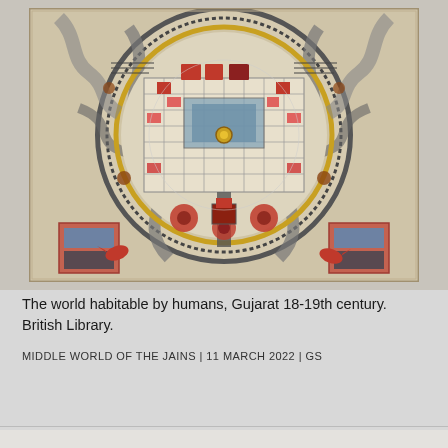[Figure (illustration): A Jain cosmological painting depicting the world habitable by humans (Manushyaloka). The painting shows a circular mandala-like composition with concentric rings, rivers, mountains, and figures rendered in red, blue, gold, and earth tones on a light background. From Gujarat, 18-19th century, held at the British Library.]
The world habitable by humans, Gujarat 18-19th century. British Library.
MIDDLE WORLD OF THE JAINS | 11 MARCH 2022 | GS